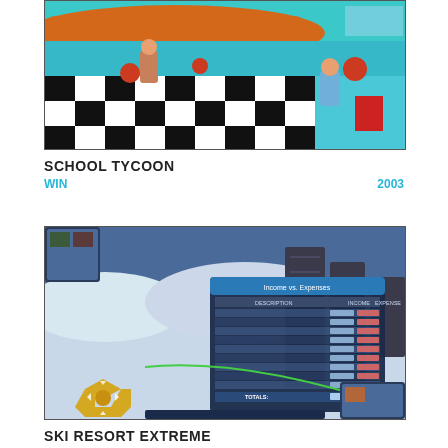[Figure (screenshot): School Tycoon game screenshot showing a diner/cafeteria interior with black and white checkered floor, cartoon-style 3D characters, and colorful furniture]
SCHOOL TYCOON
WIN   2003
[Figure (screenshot): Ski Resort Extreme game screenshot showing a winter landscape with snowy terrain, game UI elements, an income/expenses window, and navigation controls at the bottom]
SKI RESORT EXTREME
WIN   2004